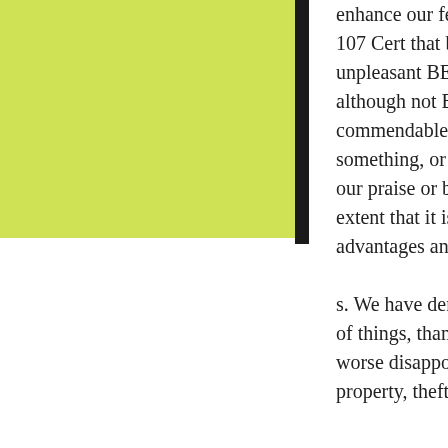[Figure (illustration): Yellow-green rectangle on the left side with a black vertical bar on its right edge]
enhance our feelings. However, BEA 0B0-107 Cert that behavior pleasant or unpleasant BEA 0B0-107 Cert results, although not BEA 0B0-107 Cert commendable or blame the actors intent in something, or at least did not meet deserves our praise or blame BEA 0B0-107 Cert the extent that it is still often give actors advantages and disadvantages of c.
s. We have denied 000-701 the possession of things, than we just want to make things worse disappointment. Thus, against property, theft and robbery we have